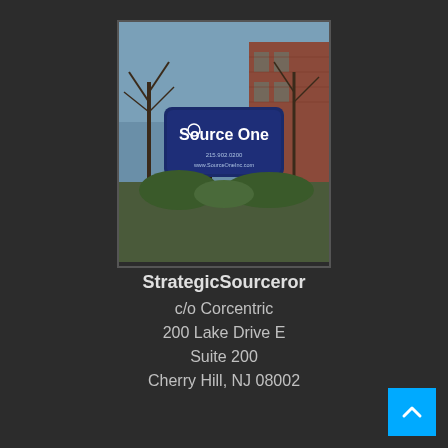[Figure (photo): Outdoor photo of a Source One company sign in front of a brick building with bare trees. The sign shows 'Source One' logo with phone number 215.902.0200 and website www.SourceOneInc.com]
StrategicSourceror
c/o Corcentric
200 Lake Drive E
Suite 200
Cherry Hill, NJ 08002